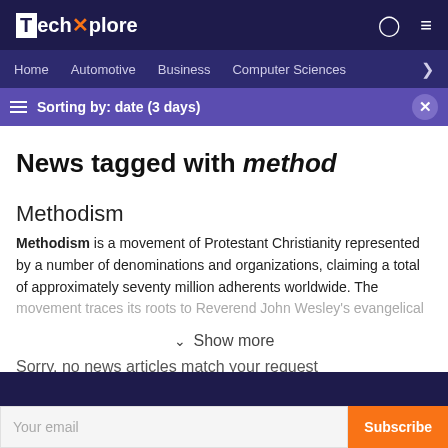TechXplore
Home | Automotive | Business | Computer Sciences
Sorting by: date (3 days)
News tagged with method
Methodism
Methodism is a movement of Protestant Christianity represented by a number of denominations and organizations, claiming a total of approximately seventy million adherents worldwide. The movement traces its roots to Reverend John Wesley's evangelical
Show more
Sorry, no news articles match your request
Your email  Subscribe